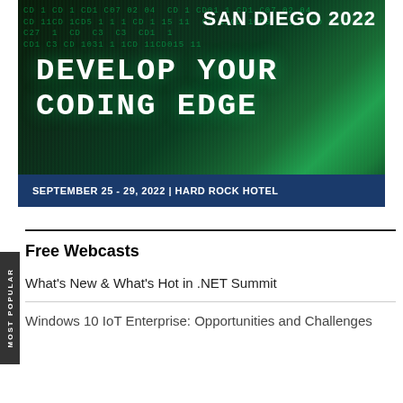[Figure (illustration): Conference banner for San Diego 2022 event. Dark green digital/code background with bright green glowing light effect and city silhouette. Text reads 'SAN DIEGO 2022' at top, 'DEVELOP YOUR CODING EDGE' in large monospace font in center, and 'SEPTEMBER 25 - 29, 2022 | HARD ROCK HOTEL' in navy footer bar at bottom.]
Free Webcasts
What's New & What's Hot in .NET Summit
Windows 10 IoT Enterprise: Opportunities and Challenges